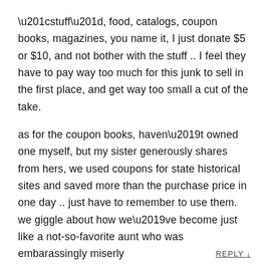“stuff”, food, catalogs, coupon books, magazines, you name it, I just donate $5 or $10, and not bother with the stuff .. I feel they have to pay way too much for this junk to sell in the first place, and get way too small a cut of the take.
as for the coupon books, haven’t owned one myself, but my sister generously shares from hers, we used coupons for state historical sites and saved more than the purchase price in one day .. just have to remember to use them. we giggle about how we’ve become just like a not-so-favorite aunt who was embarassingly miserly
REPLY ↓